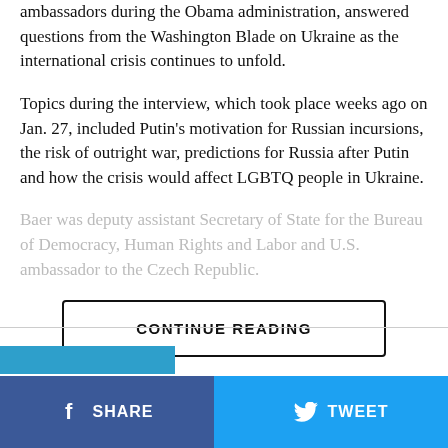ambassadors during the Obama administration, answered questions from the Washington Blade on Ukraine as the international crisis continues to unfold.
Topics during the interview, which took place weeks ago on Jan. 27, included Putin’s motivation for Russian incursions, the risk of outright war, predictions for Russia after Putin and how the crisis would affect LGBTQ people in Ukraine.
Baer was deputy assistant Secretary of State for the Bureau of Democracy, Human Rights and Labor and U.S. ambassador to the Czech Republic.
CONTINUE READING
SHARE
TWEET